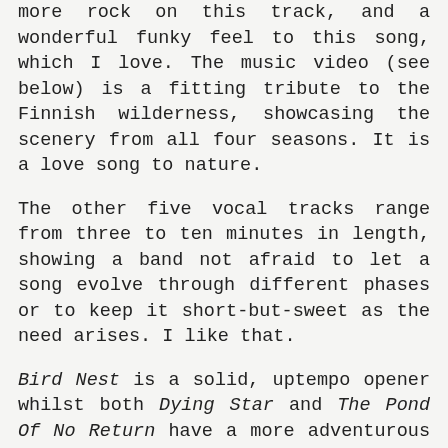more rock on this track, and a wonderful funky feel to this song, which I love. The music video (see below) is a fitting tribute to the Finnish wilderness, showcasing the scenery from all four seasons. It is a love song to nature.
The other five vocal tracks range from three to ten minutes in length, showing a band not afraid to let a song evolve through different phases or to keep it short-but-sweet as the need arises. I like that.
Bird Nest is a solid, uptempo opener whilst both Dying Star and The Pond Of No Return have a more adventurous spirit. It is only the turgidly one-paced instrumental, Ground Frost Forger, that disappoints. The production is clear and light and makes good use of the surround-sound options enjoyed when the label sends out the full CD package to play on my full hi-fi. The digipack is well presented with lyrics and photos that enhance the music. There is a lot to like here for those who would enjoy a modern-sounding,